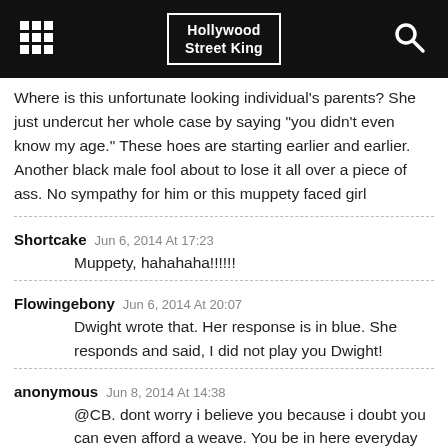Hollywood Street King
Where is this unfortunate looking individual's parents? She just undercut her whole case by saying "you didn't even know my age." These hoes are starting earlier and earlier. Another black male fool about to lose it all over a piece of ass. No sympathy for him or this muppety faced girl
Shortcake  Jun 6, 2014 At 17:23 — Muppety, hahahaha!!!!!!
Flowingebony  Jun 6, 2014 At 20:07 — Dwight wrote that. Her response is in blue. She responds and said, I did not play you Dwight!
anonymous  Jun 8, 2014 At 14:38 — @CB. dont worry i believe you because i doubt you can even afford a weave. You be in here everyday